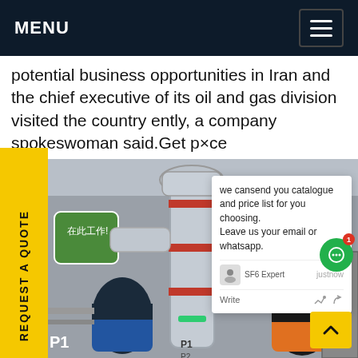MENU
potential business opportunities in Iran and the chief executive of its oil and gas division visited the country ently, a company spokeswoman said.Get p×ce
[Figure (photo): Industrial workers in protective gear working on large SF6 gas pipeline valves and fittings at an outdoor installation site. A Chinese safety sign is visible on the left.]
REQUEST A QUOTE
we cansend you catalogue and price list for you choosing.
Leave us your email or whatsapp.
SF6 Expert   justnow
Write